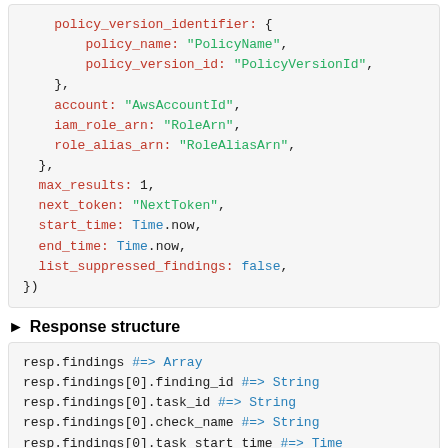policy_version_identifier: {
    policy_name: "PolicyName",
    policy_version_id: "PolicyVersionId",
},
account: "AwsAccountId",
iam_role_arn: "RoleArn",
role_alias_arn: "RoleAliasArn",
},
max_results: 1,
next_token: "NextToken",
start_time: Time.now,
end_time: Time.now,
list_suppressed_findings: false,
})
▶ Response structure
resp.findings #=> Array
resp.findings[0].finding_id #=> String
resp.findings[0].task_id #=> String
resp.findings[0].check_name #=> String
resp.findings[0].task_start_time #=> Time
resp.findings[0].finding_time #=> Time